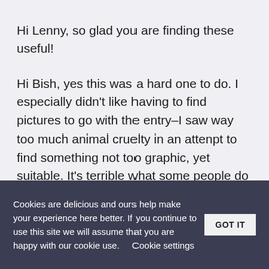Hi Lenny, so glad you are finding these useful!
Hi Bish, yes this was a hard one to do. I especially didn't like having to find pictures to go with the entry–I saw way too much animal cruelty in an attenpt to find something not too graphic, yet suitable. It's terrible what some people do to animals.
Cookies are delicious and ours help make your experience here better. If you continue to use this site we will assume that you are happy with our cookie use.   Cookie settings   GOT IT